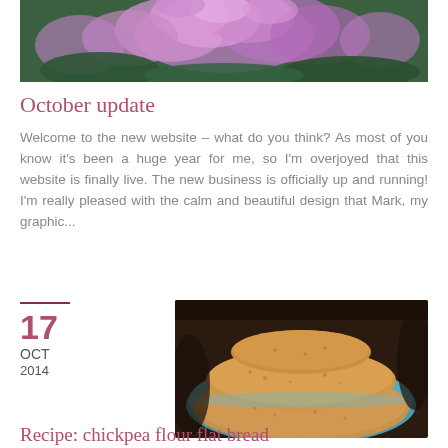[Figure (photo): Close-up of fluffy purple/pink flowers (ageratum or similar) with green leaves in background]
October update
Welcome to the new website – what do you think? As most of you know it's been a huge year for me, so I'm overjoyed that this website is finally live. The new business is officially up and running! I'm really pleased with the calm and beautiful design that Mark, my graphic...
17
OCT
2014
[Figure (photo): Stack of chickpea flour flat breads on a blue ceramic plate]
Recipe: chickpea flour flat bread